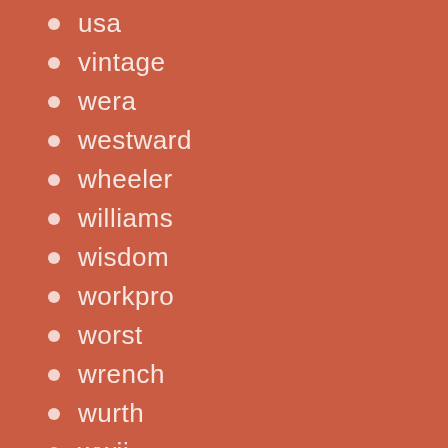usa
vintage
wera
westward
wheeler
williams
wisdom
workpro
worst
wrench
wurth
wwii
xcelite
yato
zoro